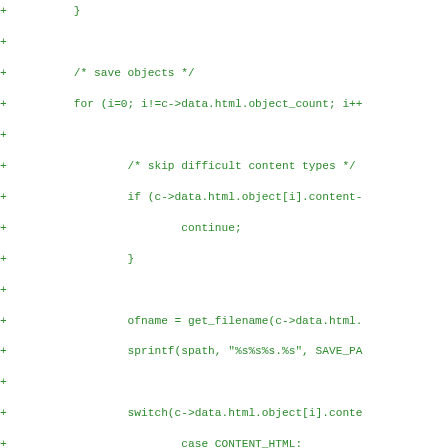[Figure (other): Code diff snippet in green monospace showing C code for saving HTML objects, with lines prefixed by '+' and '+/*' or '+*/' for commented-out sections. Code includes save objects loop, skip difficult content types, get_filename, sprintf, switch statement for content types including CONTENT_HTML, CONTENT_TEXTPLAIN, CONTENT_CSS, CONTENT_JPEG, CONTENT_PNG.]